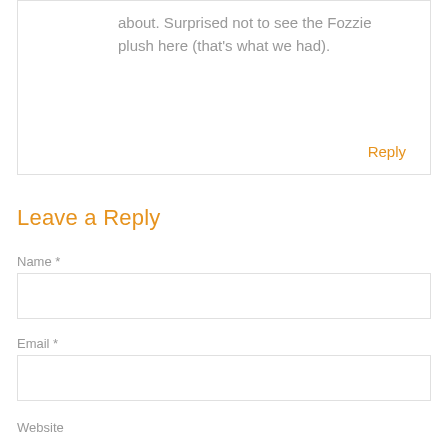about. Surprised not to see the Fozzie plush here (that's what we had).
Reply
Leave a Reply
Name *
Email *
Website